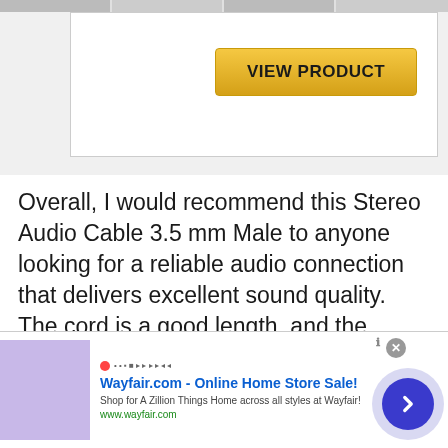[Figure (screenshot): Top strip showing partial thumbnails/images from a webpage]
[Figure (screenshot): Product card with VIEW PRODUCT button in gold/yellow color]
Overall, I would recommend this Stereo Audio Cable 3.5 mm Male to anyone looking for a reliable audio connection that delivers excellent sound quality. The cord is a good length, and the connectors seem to be well-made. I've used it to hook up my soundbar to my TV, giving me excellent sound quality.
It's perfect for home theater setups,
[Figure (screenshot): Wayfair.com advertisement banner - Online Home Store Sale! Shop for A Zillion Things Home across all styles at Wayfair! www.wayfair.com with bedroom furniture image and navigation arrow]